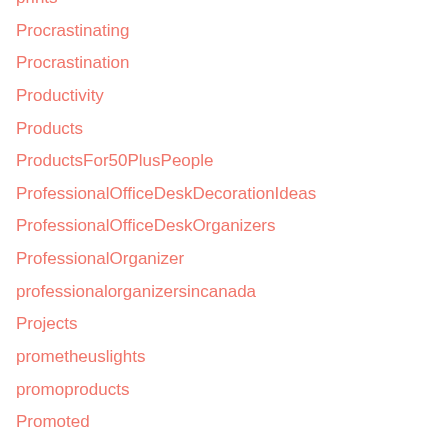prints
Procrastinating
Procrastination
Productivity
Products
ProductsFor50PlusPeople
ProfessionalOfficeDeskDecorationIdeas
ProfessionalOfficeDeskOrganizers
ProfessionalOrganizer
professionalorganizersincanada
Projects
prometheuslights
promoproducts
Promoted
PumpAndValvesDortmund